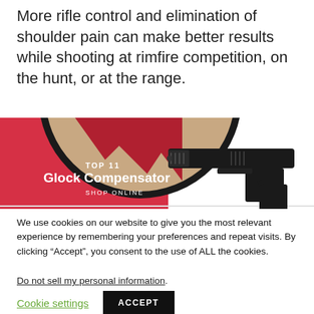More rifle control and elimination of shoulder pain can make better results while shooting at rimfire competition, on the hunt, or at the range.
[Figure (illustration): Banner advertisement for 'Top 11 Glock Compensator - Shop Online', featuring a red circular background with mountain silhouette on the left, and a black Glock handgun with compensator attachment on the right.]
We use cookies on our website to give you the most relevant experience by remembering your preferences and repeat visits. By clicking “Accept”, you consent to the use of ALL the cookies.
Do not sell my personal information.
Cookie settings  ACCEPT